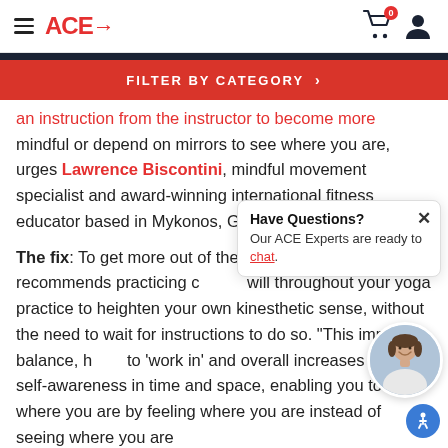ACE→
FILTER BY CATEGORY >
mindful or depend on mirrors to see where you are, urges Lawrence Biscontini, mindful movement specialist and award-winning international fitness educator based in Mykonos, Greece.
The fix: To get more out of the time... Biscontini recommends practicing closing your will throughout your yoga practice to heighten your own kinesthetic sense, without the need to wait for instructions to do so. "This improves balance, helps to 'work in' and overall increases your self-awareness in time and space, enabling you to know where you are by feeling where you are instead of seeing where you are
Have Questions? Our ACE Experts are ready to chat.